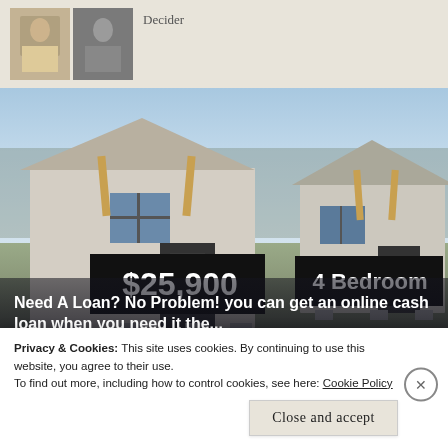[Figure (photo): Two small portrait photos of people side by side]
Decider
[Figure (photo): Photograph of two mobile/manufactured homes for sale. Left home has a sign reading '$25,900', right home has a sign reading '4 Bedroom'. Overlaid ad text reads: 'Need A Loan? No Problem! you can get an online cash loan when you need it the...' Source: 'Best Online Loans 2022 | Search Ads']
Privacy & Cookies: This site uses cookies. By continuing to use this website, you agree to their use.
To find out more, including how to control cookies, see here: Cookie Policy
Close and accept